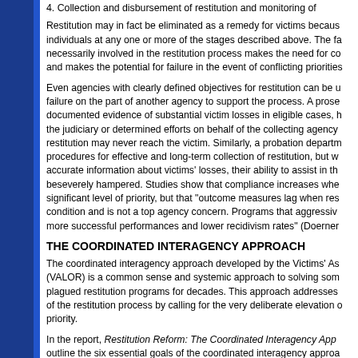4. Collection and disbursement of restitution and monitoring of
Restitution may in fact be eliminated as a remedy for victims because individuals at any one or more of the stages described above. The fa necessarily involved in the restitution process makes the need for co and makes the potential for failure in the event of conflicting priorities
Even agencies with clearly defined objectives for restitution can be u failure on the part of another agency to support the process. A prose documented evidence of substantial victim losses in eligible cases, h the judiciary or determined efforts on behalf of the collecting agency restitution may never reach the victim. Similarly, a probation departm procedures for effective and long-term collection of restitution, but w accurate information about victims' losses, their ability to assist in th beseverely hampered. Studies show that compliance increases whe significant level of priority, but that "outcome measures lag when res condition and is not a top agency concern. Programs that aggressiv more successful performances and lower recidivism rates" (Doerner
THE COORDINATED INTERAGENCY APPROACH
The coordinated interagency approach developed by the Victims' As (VALOR) is a common sense and systemic approach to solving som plagued restitution programs for decades. This approach addresses of the restitution process by calling for the very deliberate elevation o priority.
In the report, Restitution Reform: The Coordinated Interagency App outline the six essential goals of the coordinated interagency approa
Victim involvement. The importance of the goal of victim involveme Simply stated, active participation and involvement of victims is esse .............. restitution.